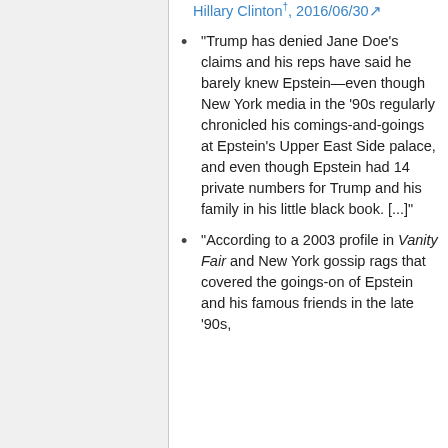Hillary Clinton†, 2016/06/30
"Trump has denied Jane Doe's claims and his reps have said he barely knew Epstein—even though New York media in the '90s regularly chronicled his comings-and-goings at Epstein's Upper East Side palace, and even though Epstein had 14 private numbers for Trump and his family in his little black book. [...]"
"According to a 2003 profile in Vanity Fair and New York gossip rags that covered the goings-on of Epstein and his famous friends in the late '90s,